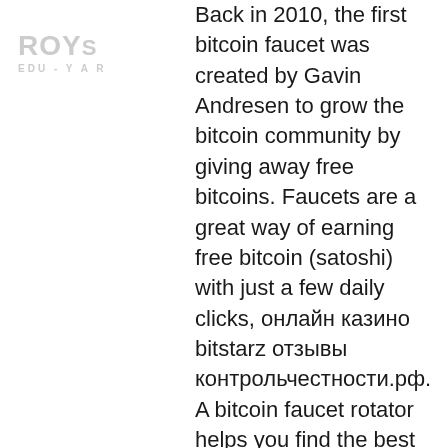ROYSE EDU-YAR
Back in 2010, the first bitcoin faucet was created by Gavin Andresen to grow the bitcoin community by giving away free bitcoins. Faucets are a great way of earning free bitcoin (satoshi) with just a few daily clicks, онлайн казино bitstarz отзывы контрольчестности.рф. A bitcoin faucet rotator helps you find the best bitcoin faucet sites by providing a list of the highest paying bitcoin faucet. A rotator is a collection of trusted websites known for being high paying and super fast, bitstarz казино официальный сайт вход. In addition to educating new users about Bitcoin Cash, some websites owners choose to utilize BitcoinCash faucets for different reasons, including to boost web site traffic and revenue, промокоды bitstarz. Typically, BitcoinCash faucets attract high web site traffic. Los bitcoin faucets son sistemas de recompensa que dispensan pequenas cantidades de la famosa criptomoneda cada